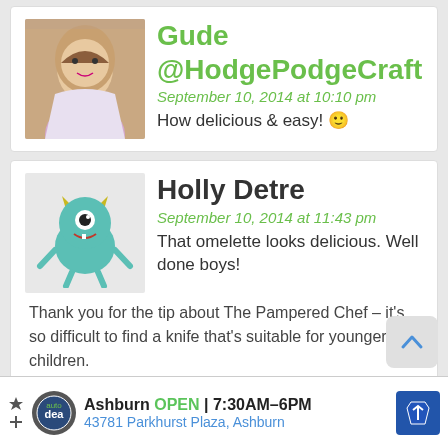[Figure (photo): Comment card: avatar of a woman, name Gude @HodgePodgeCraft, date September 10, 2014 at 10:10 pm, comment: How delicious & easy! with smiley emoji]
[Figure (photo): Comment card: avatar of a cartoon monster, name Holly Detre, date September 10, 2014 at 11:43 pm, comment: That omelette looks delicious. Well done boys! Reply text: Thank you for the tip about The Pampered Chef – it's so difficult to find a knife that's suitable for younger children.]
[Figure (photo): Partial comment card: avatar of a woman, name Gude @HodgePodgeCraft, partially visible]
Ashburn OPEN 7:30AM–6PM 43781 Parkhurst Plaza, Ashburn (advertisement)